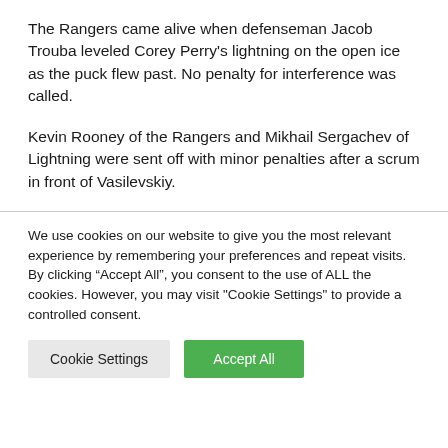The Rangers came alive when defenseman Jacob Trouba leveled Corey Perry’s lightning on the open ice as the puck flew past. No penalty for interference was called.
Kevin Rooney of the Rangers and Mikhail Sergachev of Lightning were sent off with minor penalties after a scrum in front of Vasilevskiy.
We use cookies on our website to give you the most relevant experience by remembering your preferences and repeat visits. By clicking “Accept All”, you consent to the use of ALL the cookies. However, you may visit "Cookie Settings" to provide a controlled consent.